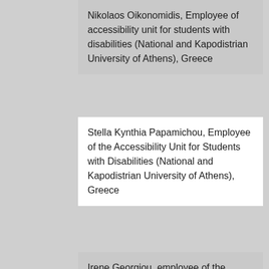Nikolaos Oikonomidis, Employee of accessibility unit for students with disabilities (National and Kapodistrian University of Athens), Greece
Stella Kynthia Papamichou, Employee of the Accessibility Unit for Students with Disabilities (National and Kapodistrian University of Athens), Greece
Irene Georgiou, employee of the Accessibility Unit for Students with Disabilities (National and Kapodistrian University of Athens), Greece
Ioannis Petroulis, Student, Researcher & Staff member of the accessibility unit for students with disabilities (National and Kapodistrian University of Athens), Greece
Alexandros Pino, Laboratory Teaching Staff (National and Kapodistrian University of Athens), Greece